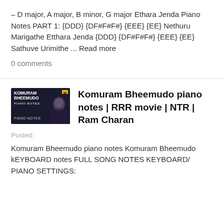– D major, A major, B minor, G major Ethara Jenda Piano Notes PART 1: {DDD} {DF#F#F#} {EEE} {EE} Nethuru Marigathe Etthara Jenda {DDD} {DF#F#F#} {EEE} {EE} Sathuve Urimithe ... Read more
0 comments
[Figure (photo): Thumbnail image for Komuram Bheemudo piano notes article, showing dark movie poster style image with text KOMURAM BHEEMUDO PIANO NOTES and a figure of a person]
Komuram Bheemudo piano notes | RRR movie | NTR | Ram Charan
Posted:
Komuram Bheemudo piano notes Komuram Bheemudo kEYBOARD notes FULL SONG NOTES KEYBOARD/ PIANO SETTINGS: